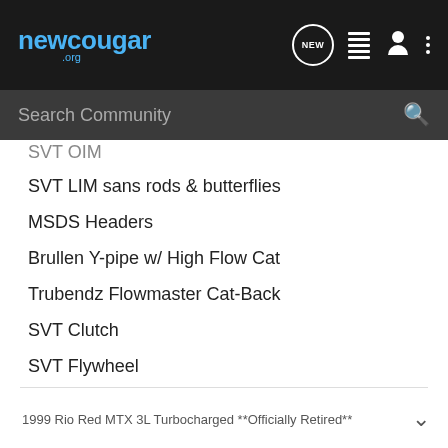newcougar.org
Search Community
SVT OIM
SVT LIM sans rods & butterflies
MSDS Headers
Brullen Y-pipe w/ High Flow Cat
Trubendz Flowmaster Cat-Back
SVT Clutch
SVT Flywheel
Short Shifter
B&G Springs w/ ST200 Struts
hopefully ill do well... 🙂
1999 Rio Red MTX 3L Turbocharged **Officially Retired**